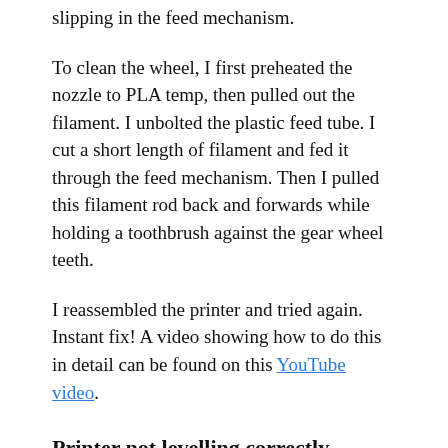slipping in the feed mechanism.
To clean the wheel, I first preheated the nozzle to PLA temp, then pulled out the filament. I unbolted the plastic feed tube. I cut a short length of filament and fed it through the feed mechanism. Then I pulled this filament rod back and forwards while holding a toothbrush against the gear wheel teeth.
I reassembled the printer and tried again. Instant fix! A video showing how to do this in detail can be found on this YouTube video.
Printer not levelling correctly